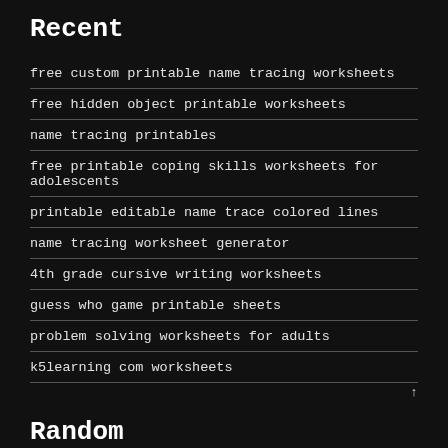Recent
free custom printable name tracing worksheets
free hidden object printable worksheets
name tracing printables
free printable coping skills worksheets for adolescents
printable editable name trace colored lines
name tracing worksheet generator
4th grade cursive writing worksheets
guess who game printable sheets
problem solving worksheets for adults
k5learning com worksheets
Random